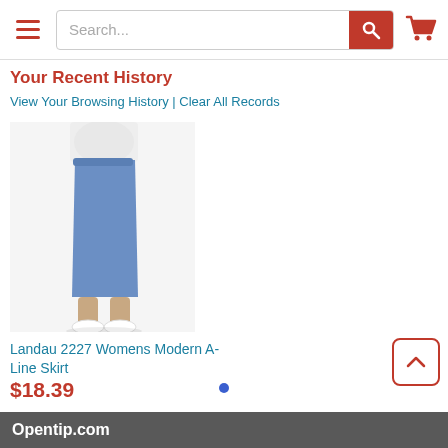Search... [search bar with red button] [hamburger menu] [cart icon]
Your Recent History
View Your Browsing History | Clear All Records
[Figure (photo): Woman wearing a blue A-line midi skirt with white top and white sneakers, product photo on white background]
Landau 2227 Womens Modern A-Line Skirt
$18.39
Opentip.com